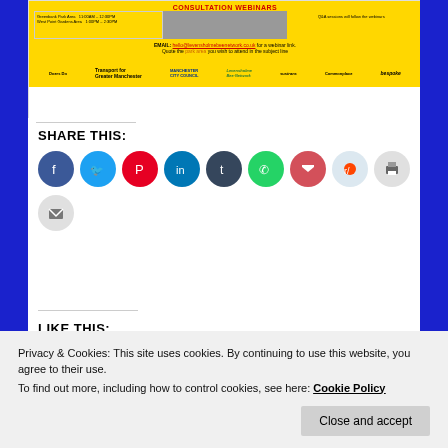[Figure (screenshot): Consultation webinars banner showing schedule for Greenbank Park Area (11:00AM-12:30PM) and West Point Gardens Area (1:00PM-2:30PM), email contact hello@levensholmebeenetwork.co.uk, and logos for Doers Do, Transport for Greater Manchester, Manchester City Council, Levensholme Bee-Network, Sustrans, Commonplace, and Bespoke on yellow background.]
SHARE THIS:
[Figure (screenshot): Social media sharing icons in circular buttons: Facebook (blue), Twitter (light blue), Pinterest (red), LinkedIn (dark blue), Tumblr (dark navy), WhatsApp (green), Pocket (red), Reddit (light blue), Print (light grey), Email (light grey)]
LIKE THIS:
Loading...
Privacy & Cookies: This site uses cookies. By continuing to use this website, you agree to their use.
To find out more, including how to control cookies, see here: Cookie Policy
planning, roads, schools and tagged filtered